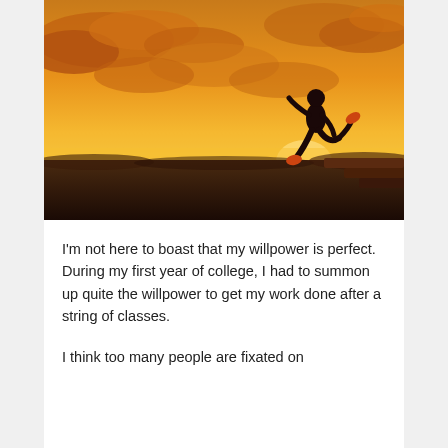[Figure (photo): A silhouette of a person running against a dramatic golden sunset sky with orange and yellow clouds.]
I'm not here to boast that my willpower is perfect. During my first year of college, I had to summon up quite the willpower to get my work done after a string of classes.
I think too many people are fixated on